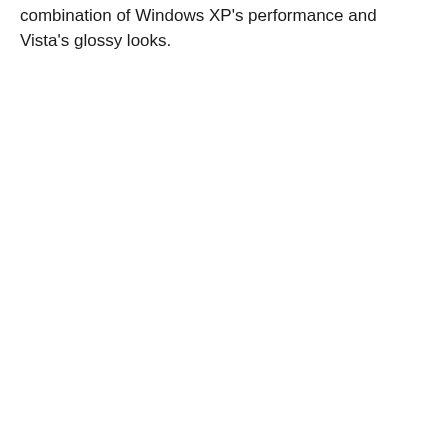combination of Windows XP's performance and Vista's glossy looks.